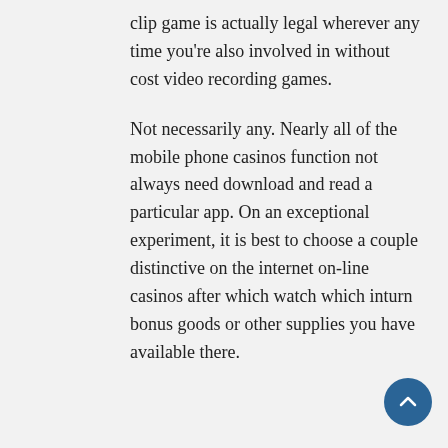clip game is actually legal wherever any time you're also involved in without cost video recording games.
Not necessarily any. Nearly all of the mobile phone casinos function not always need download and read a particular app. On an exceptional experiment, it is best to choose a couple distinctive on the internet on-line casinos after which watch which inturn bonus goods or other supplies you have available there.